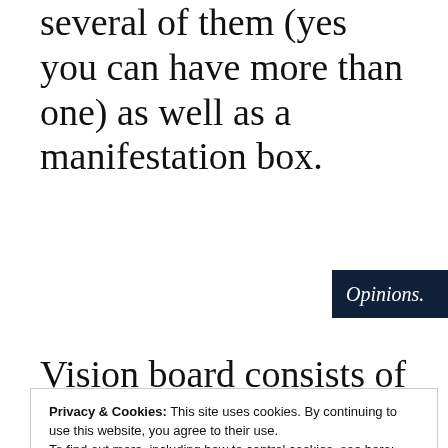several of them (yes you can have more than one) as well as a manifestation box.
[Figure (screenshot): Advertisement banner with dark navy background showing text 'Opinions.' in italic white serif font and two circular icons on the right]
Vision board consists of a large
Privacy & Cookies: This site uses cookies. By continuing to use this website, you agree to their use.
To find out more, including how to control cookies, see here:
Cookie Policy

Close and accept